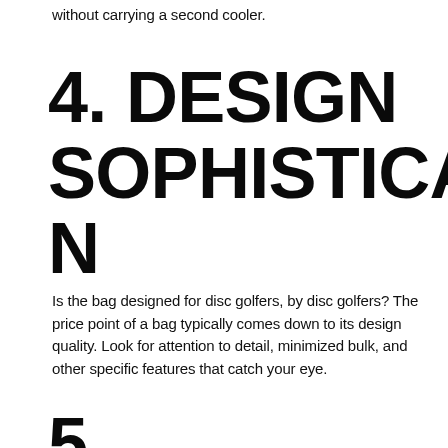without carrying a second cooler.
4. DESIGN SOPHISTICATION
Is the bag designed for disc golfers, by disc golfers? The price point of a bag typically comes down to its design quality. Look for attention to detail, minimized bulk, and other specific features that catch your eye.
5.